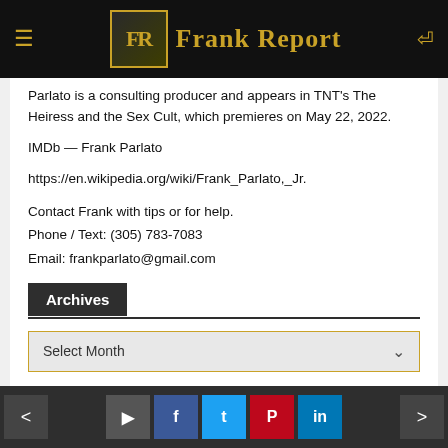Frank Report
Parlato is a consulting producer and appears in TNT's The Heiress and the Sex Cult, which premieres on May 22, 2022.
IMDb — Frank Parlato
https://en.wikipedia.org/wiki/Frank_Parlato,_Jr.
Contact Frank with tips or for help.
Phone / Text: (305) 783-7083
Email: frankparlato@gmail.com
Archives
Select Month
Connect